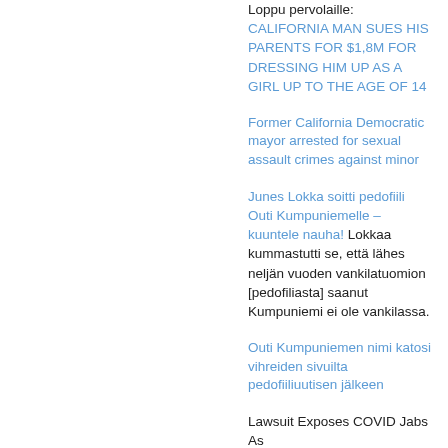Loppu pervolaille: CALIFORNIA MAN SUES HIS PARENTS FOR $1,8M FOR DRESSING HIM UP AS A GIRL UP TO THE AGE OF 14
Former California Democratic mayor arrested for sexual assault crimes against minor
Junes Lokka soitti pedofiili Outi Kumpuniemelle – kuuntele nauha! Lokkaa kummastutti se, että lähes neljän vuoden vankilatuomion [pedofiliasta] saanut Kumpuniemi ei ole vankilassa.
Outi Kumpuniemen nimi katosi vihreiden sivuilta pedofiiliuutisen jälkeen
Lawsuit Exposes COVID Jabs As